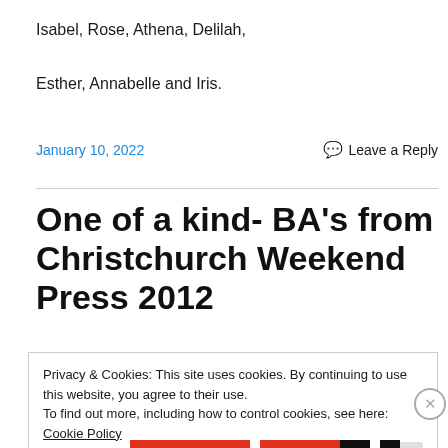Isabel, Rose, Athena, Delilah,
Esther, Annabelle and Iris.
January 10, 2022   Leave a Reply
One of a kind- BA’s from Christchurch Weekend Press 2012
Privacy & Cookies: This site uses cookies. By continuing to use this website, you agree to their use.
To find out more, including how to control cookies, see here: Cookie Policy